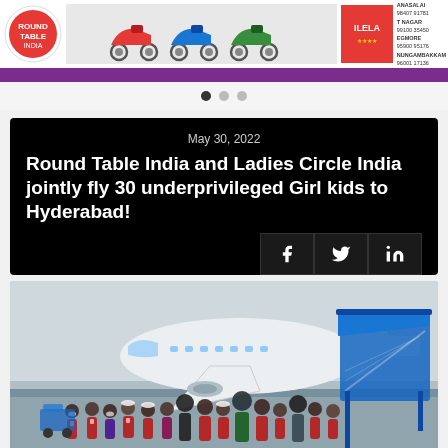[Figure (photo): Advertisement banner showing scooters/motorcycles with ILELA branding and location addresses for Anasalai, T Nagar, Egmore, Nungambakkam]
May 30, 2022
Round Table India and Ladies Circle India jointly fly 30 underprivileged Girl kids to Hyderabad!
[Figure (photo): Group photo of children and adults in red uniforms standing in front of an airplane on the tarmac with a blue boarding staircase]